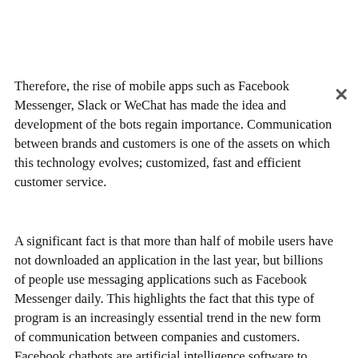Therefore, the rise of mobile apps such as Facebook Messenger, Slack or WeChat has made the idea and development of the bots regain importance. Communication between brands and customers is one of the assets on which this technology evolves; customized, fast and efficient customer service.
A significant fact is that more than half of mobile users have not downloaded an application in the last year, but billions of people use messaging applications such as Facebook Messenger daily. This highlights the fact that this type of program is an increasingly essential trend in the new form of communication between companies and customers. Facebook chatbots are artificial intelligence software to interact with users through text, images, links and call-to-action buttons. Any action or doubt that